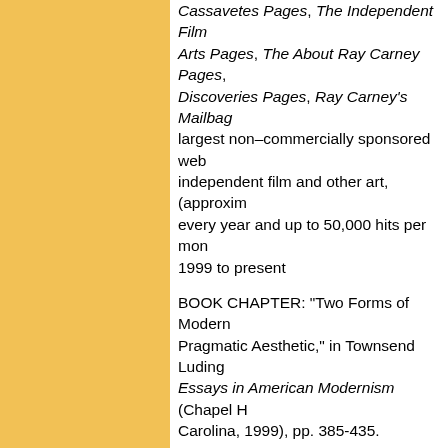Cassavetes Pages, The Independent Film Arts Pages, The About Ray Carney Pages, Discoveries Pages, Ray Carney's Mailbag largest non–commercially sponsored web independent film and other art, (approxim every year and up to 50,000 hits per mon 1999 to present
BOOK CHAPTER: "Two Forms of Modern Pragmatic Aesthetic," in Townsend Luding Essays in American Modernism (Chapel H Carolina, 1999), pp. 385-435.
BRIEF ESSAY: “A Group–Think Experien phenomenon), in The Christian Science M
PROGRAM NOTES: Wrote catalogue cop “A John Cassavetes Retrospective” held a York, November 27–December 13, 1998
BOOK: Why Art Matters: A collection of es on life and art. 1999 (Self–published for s
ARTICLE: "A new experience? Oh, no! An Rediscovery of Cassavetes' Work, The Lo February 27, 2001